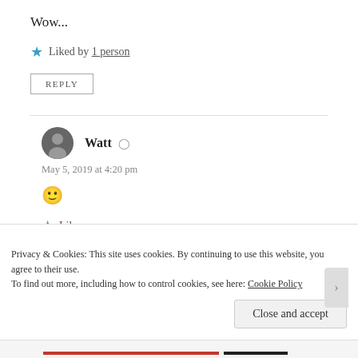Wow...
★ Liked by 1 person
REPLY
Watt  May 5, 2019 at 4:20 pm
🙂
★ Like
Privacy & Cookies: This site uses cookies. By continuing to use this website, you agree to their use.
To find out more, including how to control cookies, see here: Cookie Policy
Close and accept